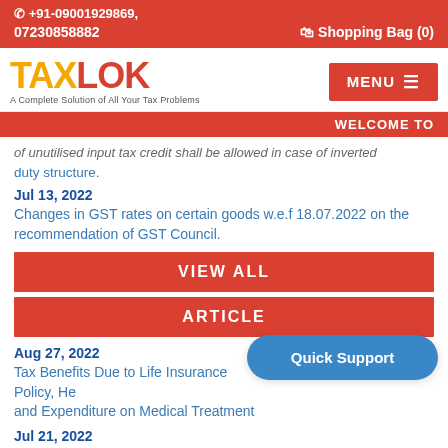+91-09001929869,
07230858882   Shopping Bag (0)
[Figure (logo): TAXLOK logo with tagline: A Complete Solution of All Your Tax Problems]
WELCOME TO
of unutilised input tax credit shall be allowed in case of inverted duty structure.
Jul 13, 2022
Changes in GST rates on certain goods w.e.f 18.07.2022 on the recommendation of GST Council.
VIEW ALL
ARTICLE
Aug 27, 2022
Tax Benefits Due to Life Insurance Policy, He and Expenditure on Medical Treatment
Jul 21, 2022
Changes in GST rates w.e.f. 18.07.2022